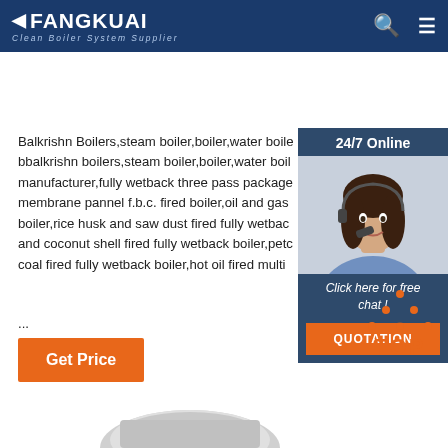FANGKUAI - Clean Boiler System Supplier
Balkrishn Boilers,steam boiler,boiler,water boiler bbalkrishn boilers,steam boiler,boiler,water boiler manufacturer,fully wetback three pass packaged membrane pannel f.b.c. fired boiler,oil and gas boiler,rice husk and saw dust fired fully wetback and coconut shell fired fully wetback boiler,petco coal fired fully wetback boiler,hot oil fired multi ...
[Figure (photo): Customer service representative with headset, sidebar with 24/7 Online label, Click here for free chat text, and QUOTATION button]
Get Price
[Figure (other): TOP back-to-top button with orange dots arranged in triangle above the word TOP]
[Figure (photo): Partial view of a boiler component at the bottom of the page]